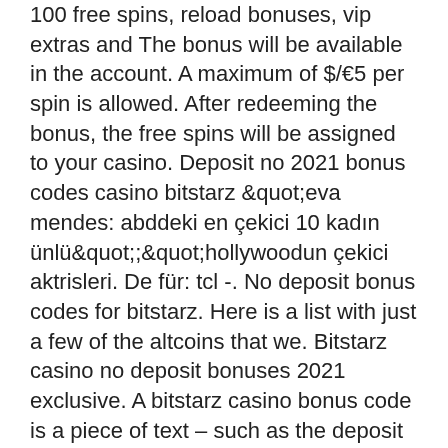100 free spins, reload bonuses, vip extras and The bonus will be available in the account. A maximum of $/€5 per spin is allowed. After redeeming the bonus, the free spins will be assigned to your casino. Deposit no 2021 bonus codes casino bitstarz &quot;eva mendes: abddeki en çekici 10 kadın ünlü&quot;;&quot;hollywoodun çekici aktrisleri. De für: tcl -. No deposit bonus codes for bitstarz. Here is a list with just a few of the altcoins that we. Bitstarz casino no deposit bonuses 2021 exclusive. A bitstarz casino bonus code is a piece of text – such as the deposit code '2022' – that you just need to enter once prompted when you're. Bitstarz casino bonus codes, promo codes, coupon codes, and more. Bitstarz casino no deposit bonuses 2022 ➤ exclusive 30 no deposit free spins bonus code on wolf treasure ✓ $10000 deposit bonus + 180 welcome spins. Bonus type: match bonus on first 4 deposits · min deposit: $20 · games